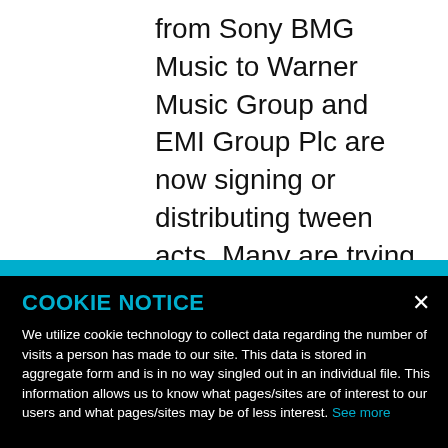from Sony BMG Music to Warner Music Group and EMI Group Plc are now signing or distributing tween acts. Many are trying to leverage these
COOKIE NOTICE
We utilize cookie technology to collect data regarding the number of visits a person has made to our site. This data is stored in aggregate form and is in no way singled out in an individual file. This information allows us to know what pages/sites are of interest to our users and what pages/sites may be of less interest. See more